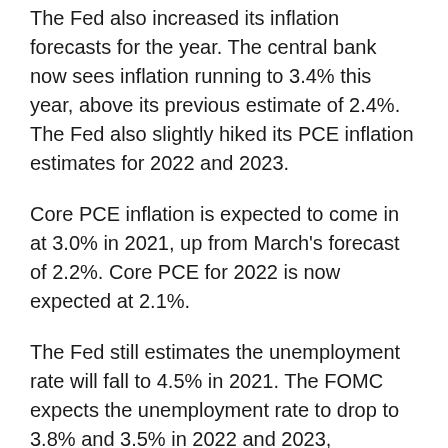The Fed also increased its inflation forecasts for the year. The central bank now sees inflation running to 3.4% this year, above its previous estimate of 2.4%. The Fed also slightly hiked its PCE inflation estimates for 2022 and 2023.
Core PCE inflation is expected to come in at 3.0% in 2021, up from March's forecast of 2.2%. Core PCE for 2022 is now expected at 2.1%.
The Fed still estimates the unemployment rate will fall to 4.5% in 2021. The FOMC expects the unemployment rate to drop to 3.8% and 3.5% in 2022 and 2023, respectively.
Become a smarter investor with CNBC Pro. Get stock picks, analyst calls, exclusive interviews and access to CNBC TV.